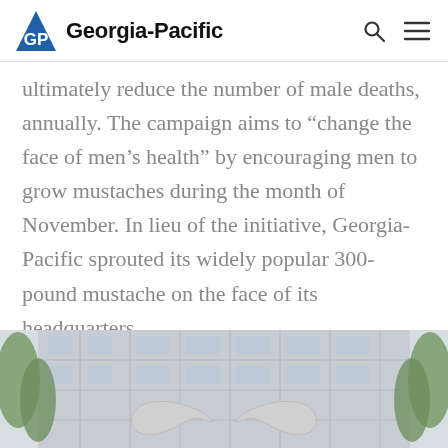Georgia-Pacific
ultimately reduce the number of male deaths, annually. The campaign aims to “change the face of men’s health” by encouraging men to grow mustaches during the month of November. In lieu of the initiative, Georgia-Pacific sprouted its widely popular 300-pound mustache on the face of its headquarters.
[Figure (photo): Photo of the Georgia-Pacific headquarters building facade with a large white 300-pound mustache installed on the exterior, framed by trees on both sides.]